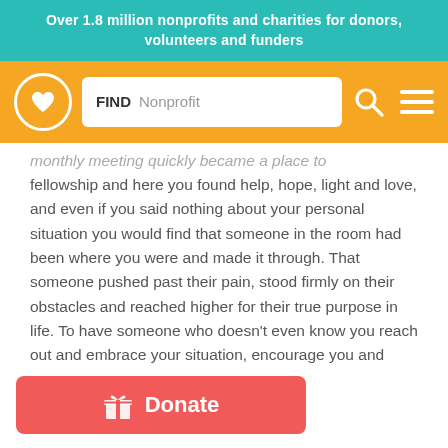Over 1.8 million nonprofits and charities for donors, volunteers and funders
[Figure (screenshot): Orange navigation bar with circular logo (heart icon), search box with FIND Nonprofit placeholder, search icon, and hamburger menu icon]
monthly meeting quickly became a place to fellowship and here you found help, hope, light and love, and even if you said nothing about your personal situation you would find that someone in the room had been where you were and made it through. That someone pushed past their pain, stood firmly on their obstacles and reached higher for their true purpose in life. To have someone who doesn't even know you reach out and embrace your situation, encourage you and uplift you is nothing but a blessing and a reason to keep moving forward. Over the past 12 years
[Figure (other): Red donate button with gift box icon and Donate text]